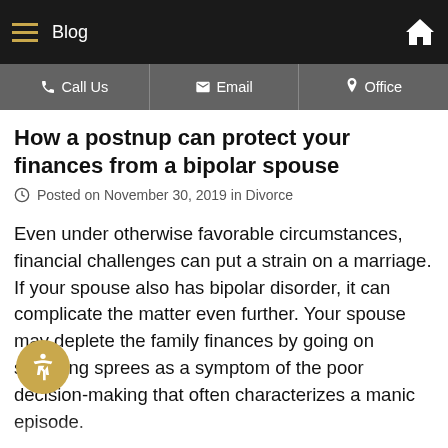Blog
How a postnup can protect your finances from a bipolar spouse
Posted on November 30, 2019 in Divorce
Even under otherwise favorable circumstances, financial challenges can put a strain on a marriage. If your spouse also has bipolar disorder, it can complicate the matter even further. Your spouse may deplete the family finances by going on spending sprees as a symptom of the poor decision-making that often characterizes a manic episode.
A marriage can fracture under this type of strain,